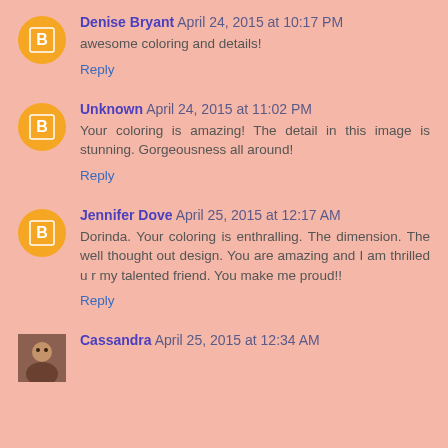Denise Bryant April 24, 2015 at 10:17 PM
awesome coloring and details!
Reply
Unknown April 24, 2015 at 11:02 PM
Your coloring is amazing! The detail in this image is stunning. Gorgeousness all around!
Reply
Jennifer Dove April 25, 2015 at 12:17 AM
Dorinda. Your coloring is enthralling. The dimension. The well thought out design. You are amazing and I am thrilled u r my talented friend. You make me proud!!
Reply
Cassandra April 25, 2015 at 12:34 AM